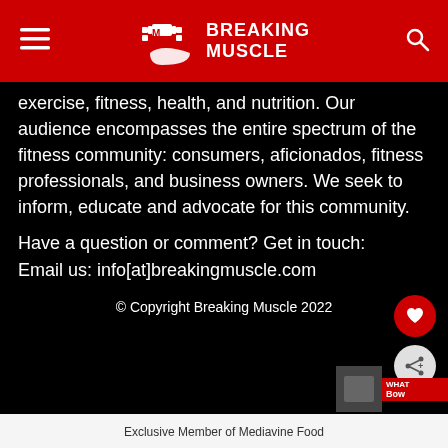Breaking Muscle
exercise, fitness, health, and nutrition. Our audience encompasses the entire spectrum of the fitness community: consumers, aficionados, fitness professionals, and business owners. We seek to inform, educate and advocate for this community.
Have a question or comment? Get in touch: Email us: info[at]breakingmuscle.com
© Copyright Breaking Muscle 2022
Exclusive Member of Mediavine Food